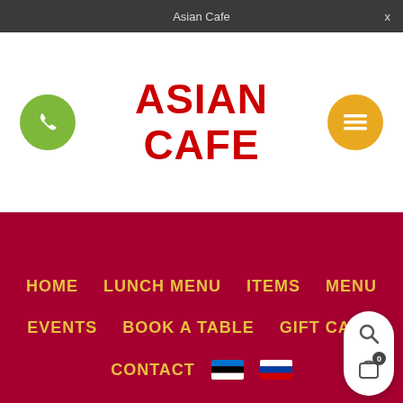Asian Cafe
ASIAN CAFE
HOME
LUNCH MENU
ITEMS
MENU
EVENTS
BOOK A TABLE
GIFT CARD
CONTACT
[Figure (screenshot): Mobile website navigation menu for Asian Cafe restaurant showing phone button, menu button, navigation links in gold on dark red background, and floating search/cart panel]